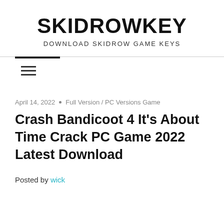SKIDROWKEY
DOWNLOAD SKIDROW GAME KEYS
April 14, 2022 • Full Version / PC Versions Game
Crash Bandicoot 4 It's About Time Crack PC Game 2022 Latest Download
Posted by wick